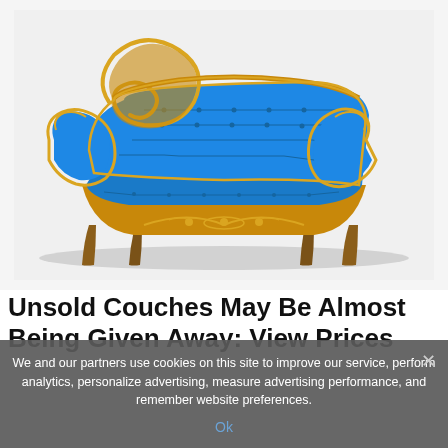[Figure (photo): A ornate baroque-style chaise lounge sofa with royal blue velvet tufted upholstery and gilded gold carved wooden frame, photographed on white background]
Unsold Couches May Be Almost Being Given Away: View Prices
We and our partners use cookies on this site to improve our service, perform analytics, personalize advertising, measure advertising performance, and remember website preferences.
Ok